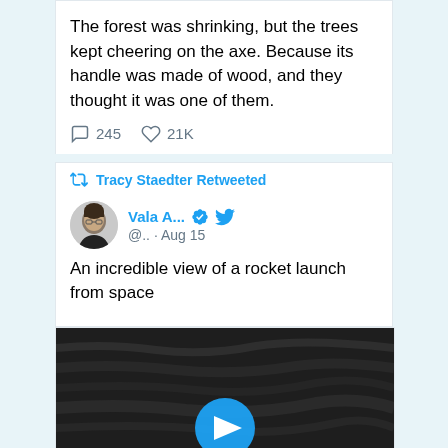The forest was shrinking, but the trees kept cheering on the axe. Because its handle was made of wood, and they thought it was one of them.
245  21K
Tracy Staedter Retweeted
Vala A...  @.. · Aug 15
An incredible view of a rocket launch from space
[Figure (screenshot): Video thumbnail showing dark surface (possibly Earth from space) with a blue circular play button in the center]